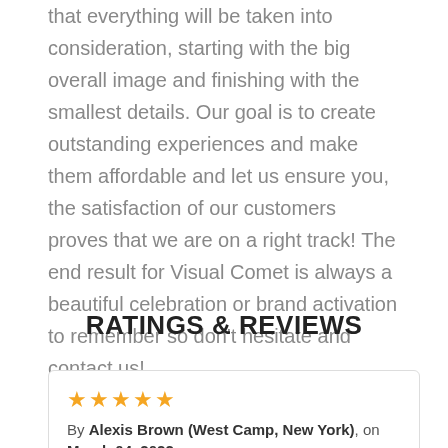that everything will be taken into consideration, starting with the big overall image and finishing with the smallest details. Our goal is to create outstanding experiences and make them affordable and let us ensure you, the satisfaction of our customers proves that we are on a right track! The end result for Visual Comet is always a beautiful celebration or brand activation to remember so don't hesitate and contact us!
RATINGS & REVIEWS
★★★★★
By Alexis Brown (West Camp, New York), on March 04, 2022

It was our first experience with event